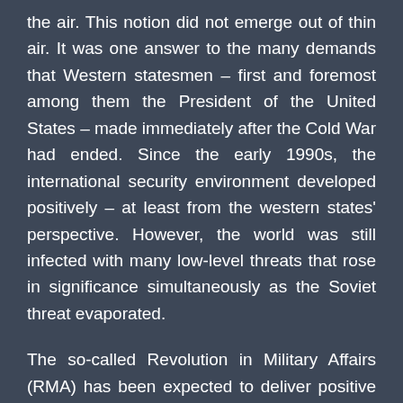the air. This notion did not emerge out of thin air. It was one answer to the many demands that Western statesmen – first and foremost among them the President of the United States – made immediately after the Cold War had ended. Since the early 1990s, the international security environment developed positively – at least from the western states' perspective. However, the world was still infected with many low-level threats that rose in significance simultaneously as the Soviet threat evaporated.
The so-called Revolution in Military Affairs (RMA) has been expected to deliver positive outcomes to political crises with little risk to Western soldiers or national interests – whether in Bosnia (1995), Kosovo (1999), Afghanistan (2001), Iraq (2003) or Libya (2011). Many western 'wars of choice'